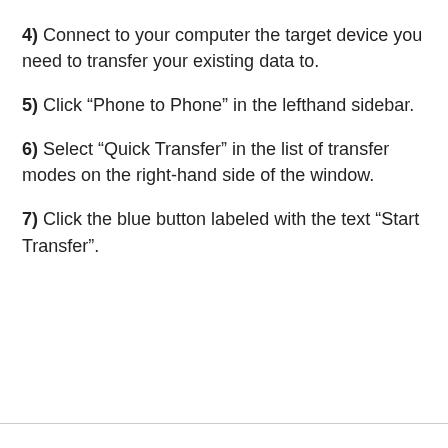4) Connect to your computer the target device you need to transfer your existing data to.
5) Click “Phone to Phone” in the lefthand sidebar.
6) Select “Quick Transfer” in the list of transfer modes on the right-hand side of the window.
7) Click the blue button labeled with the text “Start Transfer”.